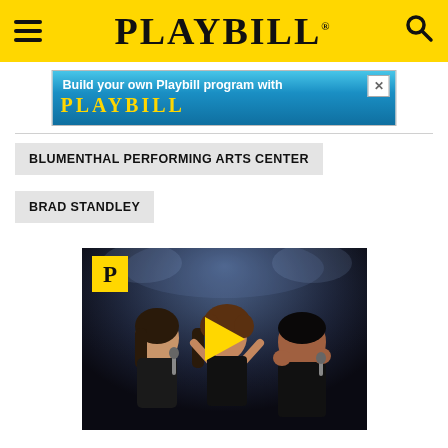PLAYBILL
[Figure (screenshot): Ad banner: Build your own Playbill program with Playbill branding in blue background]
BLUMENTHAL PERFORMING ARTS CENTER
BRAD STANDLEY
[Figure (photo): Video thumbnail showing three performers singing on a dark stage with a yellow play button overlay and Playbill P logo in top-left corner]